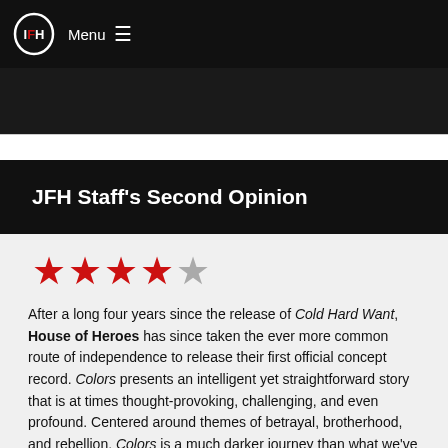Menu
[Figure (screenshot): Dark image strip at top of page below navigation bar]
JFH Staff's Second Opinion
[Figure (other): 3.5 out of 5 star rating — four red filled stars and one grey empty star]
After a long four years since the release of Cold Hard Want, House of Heroes has since taken the ever more common route of independence to release their first official concept record. Colors presents an intelligent yet straightforward story that is at times thought-provoking, challenging, and even profound. Centered around themes of betrayal, brotherhood, and rebellion, Colors is a much darker journey than what we've come to expect from the